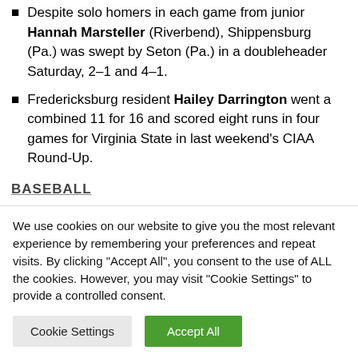Despite solo homers in each game from junior Hannah Marsteller (Riverbend), Shippensburg (Pa.) was swept by Seton (Pa.) in a doubleheader Saturday, 2–1 and 4–1.
Fredericksburg resident Hailey Darrington went a combined 11 for 16 and scored eight runs in four games for Virginia State in last weekend's CIAA Round-Up.
BASEBALL
We use cookies on our website to give you the most relevant experience by remembering your preferences and repeat visits. By clicking "Accept All", you consent to the use of ALL the cookies. However, you may visit "Cookie Settings" to provide a controlled consent.